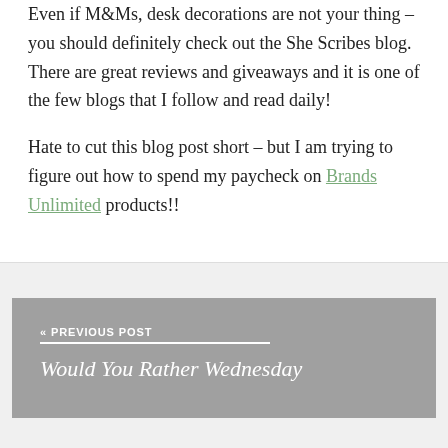Even if M&Ms, desk decorations are not your thing – you should definitely check out the She Scribes blog.  There are great reviews and giveaways and it is one of the few blogs that I follow and read daily!
Hate to cut this blog post short – but I am trying to figure out how to spend my paycheck on Brands Unlimited products!!
« PREVIOUS POST / Would You Rather Wednesday